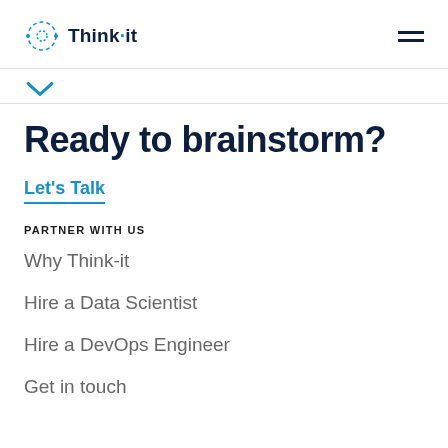Think-it
[Figure (logo): Think-it logo with circular dashed icon and bold text 'Think-it']
Ready to brainstorm?
Let's Talk
PARTNER WITH US
Why Think-it
Hire a Data Scientist
Hire a DevOps Engineer
Get in touch